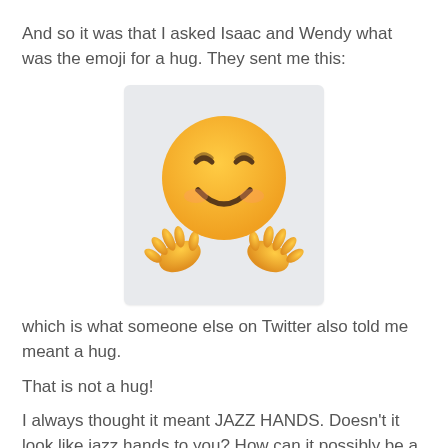And so it was that I asked Isaac and Wendy what was the emoji for a hug. They sent me this:
[Figure (illustration): A smiling face with hugging hands emoji (🤗) displayed in a light gray rounded square box.]
which is what someone else on Twitter also told me meant a hug.
That is not a hug!
I always thought it meant JAZZ HANDS. Doesn't it look like jazz hands to you? How can it possibly be a hug? if it were a hug each hand would be pointing in the other direction. There is no way I am going to use that to mean hug. I voiced